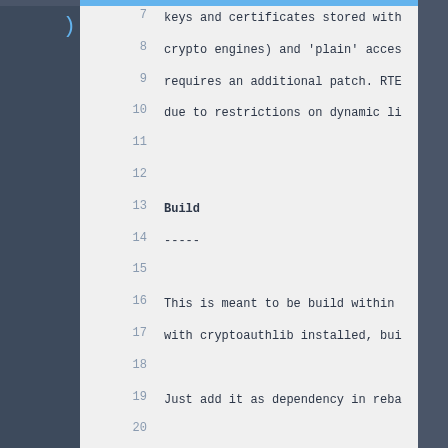7    keys and certificates stored with
8    crypto engines) and 'plain' acces
9    requires an additional patch. RTE
10   due to restrictions on dynamic li
11   (empty line)
12   (empty line)
13   Build
14   -----
15   (empty line)
16   This is meant to be build within
17   with cryptoauthlib installed, bui
18   (empty line)
19   Just add it as dependency in reba
20   (empty line)
21   (empty line)
22   Device Support
23   --------------
24   (empty line)
25   This library follows the ATECC608
26   (empty line)
27   * one unchangable primary private